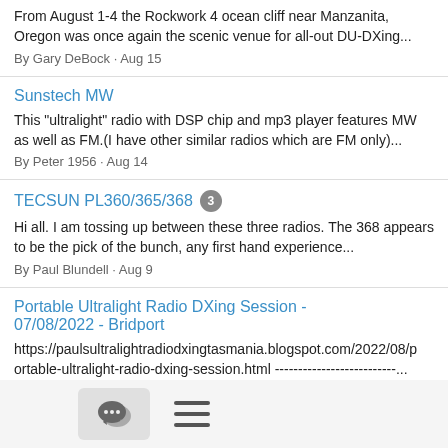From August 1-4 the Rockwork 4 ocean cliff near Manzanita, Oregon was once again the scenic venue for all-out DU-DXing... By Gary DeBock · Aug 15
Sunstech MW
This "ultralight" radio with DSP chip and mp3 player features MW as well as FM.(I have other similar radios which are FM only)... By Peter 1956 · Aug 14
TECSUN PL360/365/368 [3]
Hi all. I am tossing up between these three radios. The 368 appears to be the pick of the bunch, any first hand experience... By Paul Blundell · Aug 9
Portable Ultralight Radio DXing Session - 07/08/2022 - Bridport
https://paulsultralightradiodxingtasmania.blogspot.com/2022/08/portable-ultralight-radio-dxing-session.html --------------------------... By Paul Blundell · Aug 7